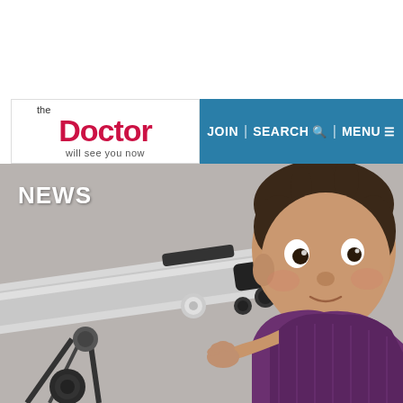[Figure (logo): The Doctor will see you now — website logo with red bold 'Doctor' text]
JOIN | SEARCH | MENU
[Figure (photo): Baby/toddler in purple sweater holding a telescope, grey background. Text overlay: NEWS]
NEWS